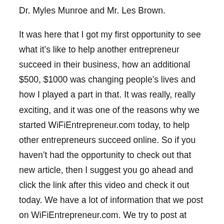Dr. Myles Munroe and Mr. Les Brown.
It was here that I got my first opportunity to see what it’s like to help another entrepreneur succeed in their business, how an additional $500, $1000 was changing people’s lives and how I played a part in that. It was really, really exciting, and it was one of the reasons why we started WiFiEntrepreneur.com today, to help other entrepreneurs succeed online. So if you haven’t had the opportunity to check out that new article, then I suggest you go ahead and click the link after this video and check it out today. We have a lot of information that we post on WiFiEntrepreneur.com. We try to post at least two articles a day. Excuse me, two articles a week. One day we’ll get up to two articles a day, but right now we’re at